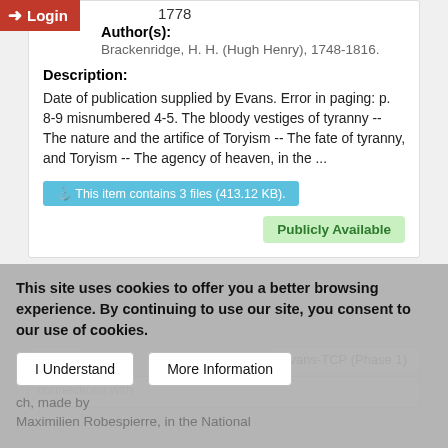Login
1778
Author(s):
Brackenridge, H. H. (Hugh Henry), 1748-1816.
Description:
Date of publication supplied by Evans. Error in paging: p. 8-9 misnumbered 4-5. The bloody vestiges of tyranny -- The nature and the artifice of Toryism -- The fate of tyranny, and Toryism -- The agency of heaven, in the ...
This item contains 3 files (413.12 KB).
Publicly Available
Text
Evans-TCP (Phase 1)
This site uses cookies to offer you a better browsing experience. By continuing to use our site, you consent to our use of cookies.
I Understand
More Information
connections with
ch, made by
Maximilien Robespierre, in the National